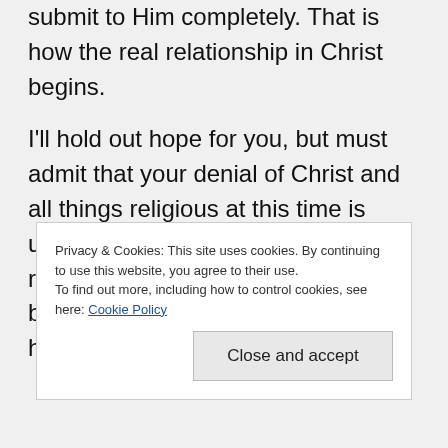submit to Him completely. That is how the real relationship in Christ begins.
I'll hold out hope for you, but must admit that your denial of Christ and all things religious at this time is useful toward dealing with the religion of evolution. The reason being that they 'evolutionauts (?)' hide behind science and the
Privacy & Cookies: This site uses cookies. By continuing to use this website, you agree to their use.
To find out more, including how to control cookies, see here: Cookie Policy
Close and accept